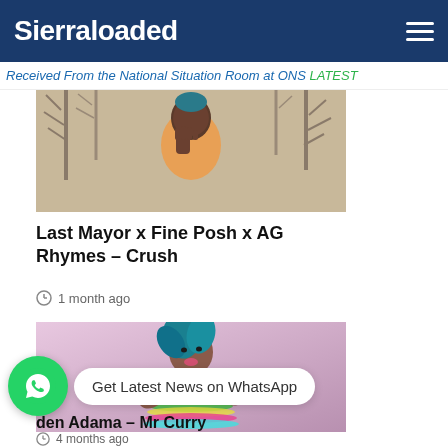Sierraloaded
Received From the National Situation Room at ONS LATEST
[Figure (photo): Young man with hand gesture, trees in background, orange hoodie]
Last Mayor x Fine Posh x AG Rhymes – Crush
1 month ago
[Figure (photo): Colorful artistic image of a woman with elaborate beaded necklaces and feathered headdress]
Get Latest News on WhatsApp
den Adama – Mr Curry
4 months ago